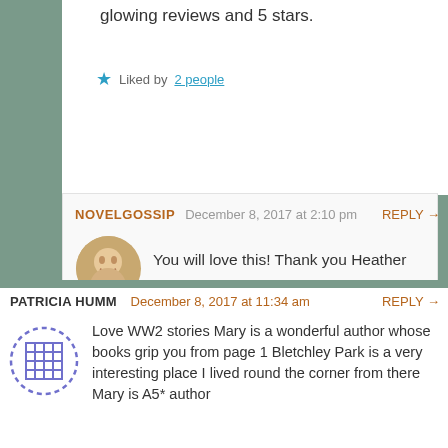glowing reviews and 5 stars.
Liked by 2 people
NOVELGOSSIP  December 8, 2017 at 2:10 pm  REPLY →
You will love this! Thank you Heather
Liked by 1 person
PATRICIA HUMM  December 8, 2017 at 11:34 am  REPLY →
Love WW2 stories Mary is a wonderful author whose books grip you from page 1 Bletchley Park is a very interesting place I lived round the corner from there Mary is A5* author